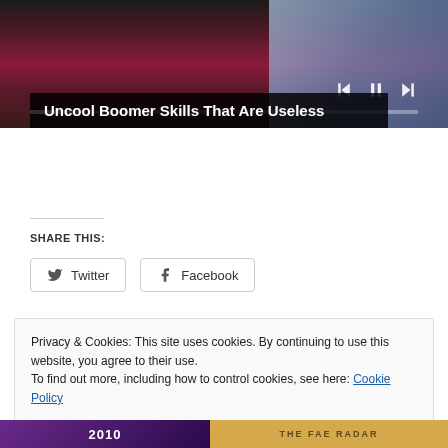[Figure (screenshot): Video player showing people sitting, with playback controls (previous, pause, next) and a progress bar. Title overlay reads 'Uncool Boomer Skills That Are Useless']
Uncool Boomer Skills That Are Useless
SHARE THIS:
Twitter
Facebook
Privacy & Cookies: This site uses cookies. By continuing to use this website, you agree to their use.
To find out more, including how to control cookies, see here: Cookie Policy
Close and accept
[Figure (screenshot): Bottom thumbnails: left shows '2010' text on purple background, right shows 'THE FAE RADAR' on golden/tan background]